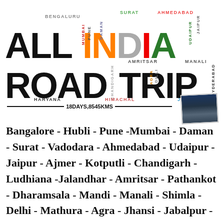[Figure (illustration): All India Road Trip graphic/poster with city names scattered as typography art, large bold text reading ALL INDIA ROAD TRIP with city names overlaid in various colors and orientations, including BENGALURU, SURAT, AHMEDABAD, MUMBAI, PUNE, DAMAN, UDAIPUR, JAIPUR, CHANDIGARH, AMRITSAR, AGRA, DILLI, MANALI, HYDERABAD, HARYANA, HIMACHAL, JABBALPUR, and text 18DAYS,8545KMS, and a small photo of a Maruti 800 car]
Bangalore - Hubli - Pune -Mumbai - Daman - Surat - Vadodara - Ahmedabad - Udaipur - Jaipur - Ajmer - Kotputli - Chandigarh - Ludhiana -Jalandhar - Amritsar - Pathankot - Dharamsala - Mandi - Manali - Shimla - Delhi - Mathura - Agra - Jhansi - Jabalpur -